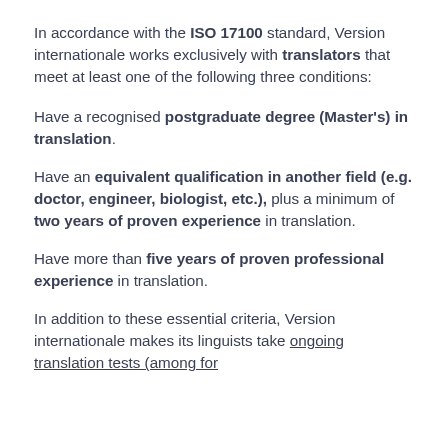In accordance with the ISO 17100 standard, Version internationale works exclusively with translators that meet at least one of the following three conditions:
Have a recognised postgraduate degree (Master's) in translation.
Have an equivalent qualification in another field (e.g. doctor, engineer, biologist, etc.), plus a minimum of two years of proven experience in translation.
Have more than five years of proven professional experience in translation.
In addition to these essential criteria, Version internationale makes its linguists take ongoing translation tests (among former …)